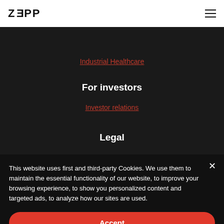ZEPP
Industrial Healthcare
For investors
Investor relations
Legal
This website uses first and third-party Cookies. We use them to maintain the essential functionality of our website, to improve your browsing experience, to show you personalized content and targeted ads, to analyze how our sites are used.
Accept
Learn more and customize